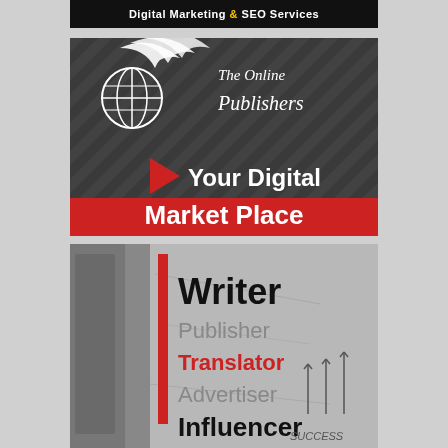[Figure (logo): Black banner with text 'Digital Marketing & SEO Services' where ampersand is in yellow]
[Figure (illustration): Dark gray diagonal-striped card with The Online Publishers logo (white bird/globe icon and cursive script), red arrow shape, and bold white text 'Your Digital Market Place' on red background strip]
[Figure (illustration): Gray textured background card with red vertical bar and stacked text: 'Writer' in black bold, 'Publisher' in gray, 'Translator' in red, 'Advertiser' in gray, 'Influencer' in black bold. Right side shows arrow sketches and word SUCCESS.]